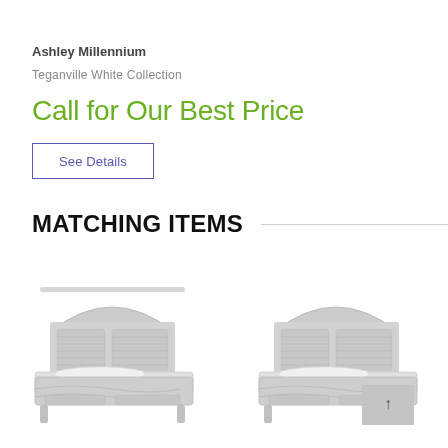Ashley Millennium
Teganville White Collection
Call for Our Best Price
See Details
MATCHING ITEMS
[Figure (photo): White panel bed (Teganville White Collection) - left item]
[Figure (photo): White panel bed (Teganville White Collection) - right item]